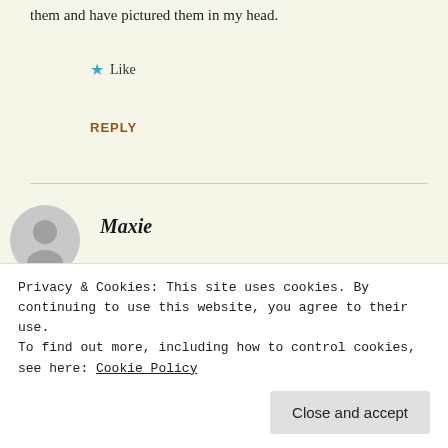them and have pictured them in my head.
★ Like
REPLY
Maxie
MARCH 15, 2010 AT 10:49 PM
Can't wait!! And I would love to visit Elk City
Privacy & Cookies: This site uses cookies. By continuing to use this website, you agree to their use.
To find out more, including how to control cookies, see here: Cookie Policy
Close and accept